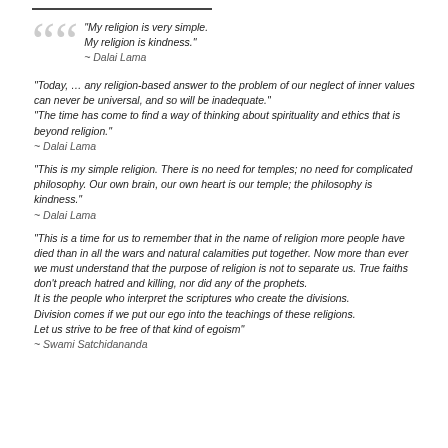"My religion is very simple. My religion is kindness." ~ Dalai Lama
"Today, … any religion-based answer to the problem of our neglect of inner values can never be universal, and so will be inadequate." "The time has come to find a way of thinking about spirituality and ethics that is beyond religion." ~ Dalai Lama
"This is my simple religion. There is no need for temples; no need for complicated philosophy. Our own brain, our own heart is our temple; the philosophy is kindness." ~ Dalai Lama
"This is a time for us to remember that in the name of religion more people have died than in all the wars and natural calamities put together. Now more than ever we must understand that the purpose of religion is not to separate us. True faiths don't preach hatred and killing, nor did any of the prophets. It is the people who interpret the scriptures who create the divisions. Division comes if we put our ego into the teachings of these religions. Let us strive to be free of that kind of egoism" ~ Swami Satchidananda